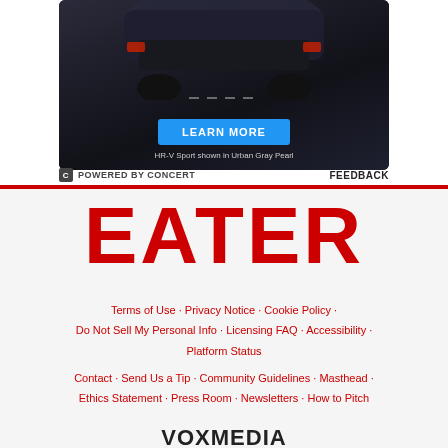[Figure (photo): Honda HR-V Sport advertisement showing the vehicle from rear on a dark road, with a blue LEARN MORE button and caption 'HR-V Sport shown in Urban Gray Pearl']
POWERED BY CONCERT   FEEDBACK
[Figure (logo): EATER logo in large red bold text]
Terms of Use · Privacy Notice · Cookie Policy · Do Not Sell My Personal Info · Licensing FAQ · Accessibility · Platform Status
Contact · Send Us a Tip · Community Guidelines · Masthead · Ethics Statement · Press Room · Newsletters · How to Pitch
[Figure (logo): VOXMEDIA logo in large dark bold text]